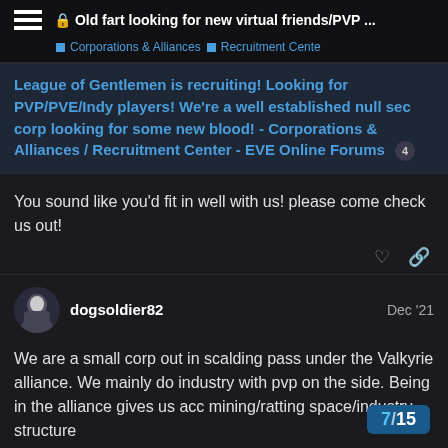Old fart looking for new virtual friends/PVP ...
Corporations & Alliances  Recruitment Center
League of Gentlemen is recruiting! Looking for PVP/PVE/Indy players! We're a well established null sec corp looking for some new blood! - Corporations & Alliances / Recruitment Center - EVE Online Forums 4
You sound like you'd fit in well with us! please come check us out!
dogsoldier82  Dec '21
We are a small corp out in scalding pass under the Valkyrie alliance. We mainly do industry with pvp on the side. Being in the alliance gives us acc mining/ratting space/industry structure